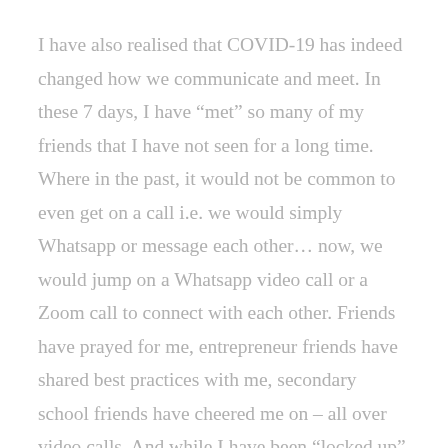I have also realised that COVID-19 has indeed changed how we communicate and meet. In these 7 days, I have “met” so many of my friends that I have not seen for a long time. Where in the past, it would not be common to even get on a call i.e. we would simply Whatsapp or message each other… now, we would jump on a Whatsapp video call or a Zoom call to connect with each other. Friends have prayed for me, entrepreneur friends have shared best practices with me, secondary school friends have cheered me on – all over video calls. And while I have been “locked up” in my hospital ward, my team at work has been busy organising virtual speed dating events and virtual dates